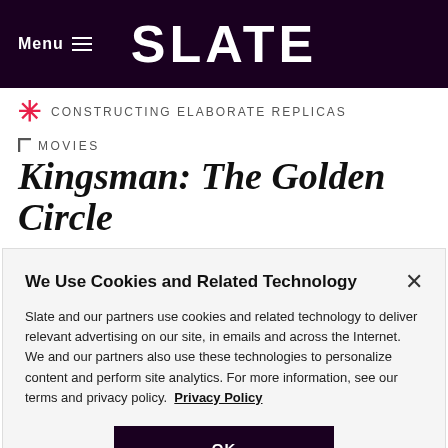Menu  SLATE
CONSTRUCTING ELABORATE REPLICAS
MOVIES
Kingsman: The Golden Circle
As spy sequels go, this is less Goldfinger, more Goldmember.
We Use Cookies and Related Technology

Slate and our partners use cookies and related technology to deliver relevant advertising on our site, in emails and across the Internet. We and our partners also use these technologies to personalize content and perform site analytics. For more information, see our terms and privacy policy.  Privacy Policy

OK